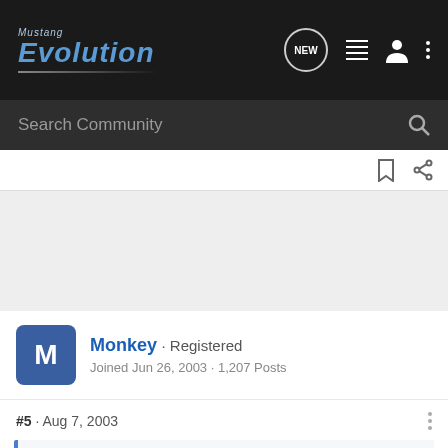Mustang Evolution — navigation bar with logo, NEW, list, user, and menu icons
Search Community
[Figure (screenshot): Bookmark and share icons toolbar row]
[Figure (other): Light grey advertisement/content area]
Monkey · Registered
Joined Jun 26, 2003 · 1,207 Posts
#5 · Aug 7, 2003
Rellik said:
you wont have to run 92 octane gas